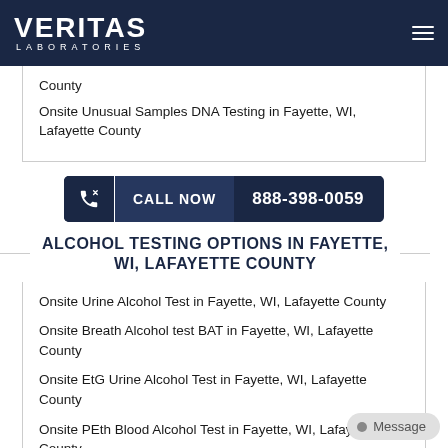VERITAS LABORATORIES
County
Onsite Unusual Samples DNA Testing in Fayette, WI, Lafayette County
[Figure (other): Call Now button with phone icon and number 888-398-0059]
ALCOHOL TESTING OPTIONS IN FAYETTE, WI, LAFAYETTE COUNTY
Onsite Urine Alcohol Test in Fayette, WI, Lafayette County
Onsite Breath Alcohol test BAT in Fayette, WI, Lafayette County
Onsite EtG Urine Alcohol Test in Fayette, WI, Lafayette County
Onsite PEth Blood Alcohol Test in Fayette, WI, Lafayette County